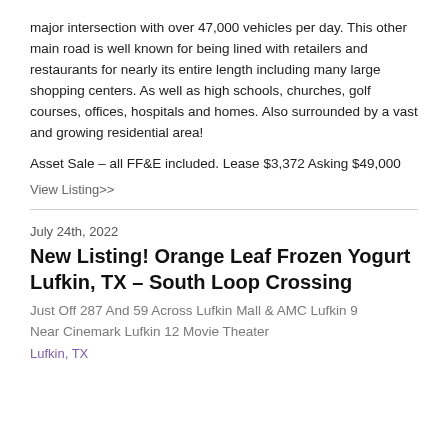major intersection with over 47,000 vehicles per day. This other main road is well known for being lined with retailers and restaurants for nearly its entire length including many large shopping centers. As well as high schools, churches, golf courses, offices, hospitals and homes. Also surrounded by a vast and growing residential area!
Asset Sale – all FF&E included. Lease $3,372 Asking $49,000
View Listing>>
July 24th, 2022
New Listing! Orange Leaf Frozen Yogurt Lufkin, TX – South Loop Crossing
Just Off 287 And 59 Across Lufkin Mall & AMC Lufkin 9 Near Cinemark Lufkin 12 Movie Theater
Lufkin, TX